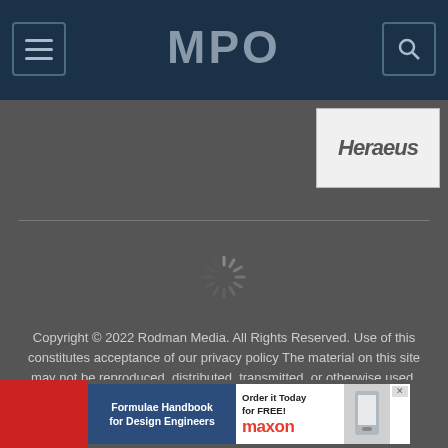MPO — navigation header with menu and search buttons
[Figure (logo): Heraeus advertisement box partially visible in upper right]
[Figure (illustration): Loading spinner icon in center of page]
Copyright © 2022 Rodman Media. All Rights Reserved. Use of this constitutes acceptance of our privacy policy The material on this site may not be reproduced, distributed, transmitted, or otherwise used, except with the prior written permission of Rodman Media.
[Figure (screenshot): Advertisement banner: Formulae Handbook for Design Engineers — Order it Today for FREE! maxon]